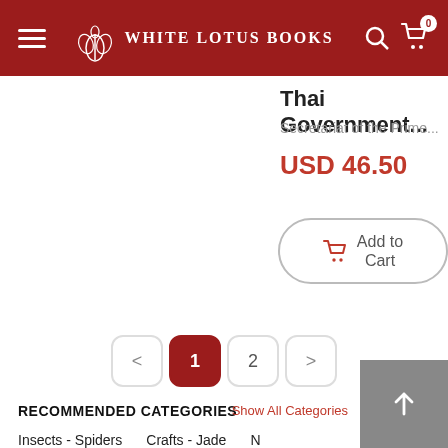White Lotus Books
Thai Government...
Secretariat of the Prime...
USD 46.50
Add to Cart
< 1 2 >
RECOMMENDED CATEGORIES
Show All Categories
Insects - Spiders  Crafts - Jade  N